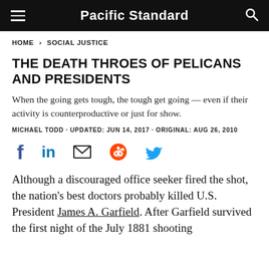Pacific Standard
HOME › SOCIAL JUSTICE
THE DEATH THROES OF PELICANS AND PRESIDENTS
When the going gets tough, the tough get going — even if their activity is counterproductive or just for show.
MICHAEL TODD · UPDATED: JUN 14, 2017 · ORIGINAL: AUG 26, 2010
[Figure (other): Social share icons: Facebook, LinkedIn, Email, Reddit, Twitter]
Although a discouraged office seeker fired the shot, the nation's best doctors probably killed U.S. President James A. Garfield. After Garfield survived the first night of the July 1881 shooting